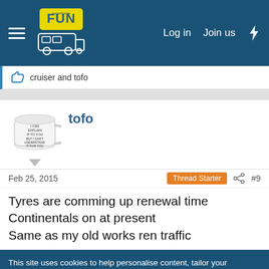motorhome FUN — Log in  Join us
👍 cruiser and tofo
tofo
Feb 25, 2015   Thread Starter   #9
Tyres are comming up renewal time
Continentals on at present
Same as my old works ren traffic
This site uses cookies to help personalise content, tailor your experience and to keep you logged in if you register.
By continuing to use this site, you are consenting to our use of cookies.
✓ Accept   Learn more…